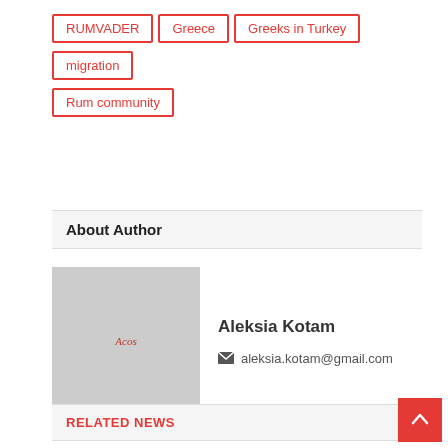RUMVADER
Greece
Greeks in Turkey
migration
Rum community
About Author
[Figure (logo): Gray square placeholder with small red italic text 'Acos' in the center, serving as author avatar placeholder]
Aleksia Kotam
aleksia.kotam@gmail.com
RELATED NEWS